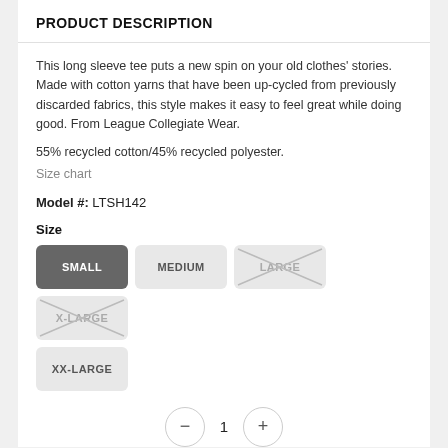PRODUCT DESCRIPTION
This long sleeve tee puts a new spin on your old clothes' stories. Made with cotton yarns that have been up-cycled from previously discarded fabrics, this style makes it easy to feel great while doing good. From League Collegiate Wear.
55% recycled cotton/45% recycled polyester.
Size chart
Model #: LTSH142
Size
[Figure (other): Size selector buttons: SMALL (selected, dark), MEDIUM (available), LARGE (unavailable, crossed out), X-LARGE (unavailable, crossed out), XX-LARGE (available)]
[Figure (other): Quantity selector with minus button, value 1, and plus button]